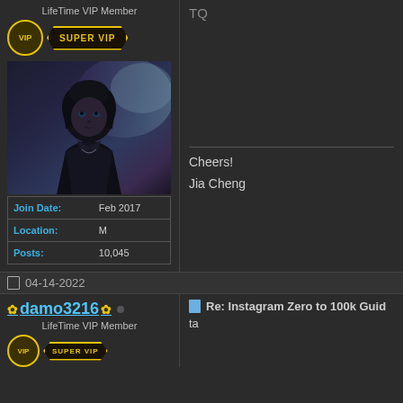LifeTime VIP Member
[Figure (illustration): VIP circle badge and SUPER VIP banner badge in gold]
[Figure (illustration): Dark anime-style character avatar with black hair and coat]
| Field | Value |
| --- | --- |
| Join Date: | Feb 2017 |
| Location: | M |
| Posts: | 10,045 |
TQ
Cheers!
Jia Cheng
04-14-2022
damo3216
LifeTime VIP Member
Re: Instagram Zero to 100k Guide
ta